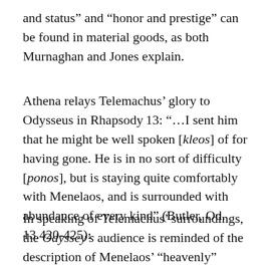and status” and “honor and prestige” can be found in material goods, as both Murnaghan and Jones explain.
Athena relays Telemachus’ glory to Odysseus in Rhapsody 13: “…I sent him that he might be well spoken [kleos] of for having gone. He is in no sort of difficulty [ponos], but is staying quite comfortably with Menelaos, and is surrounded with abundance of every kind” (Butler, Od. 13.420-425).
In speaking of Telemachus’ surroundings, the Odyssey’s audience is reminded of the description of Menelaos’ “heavenly” palace